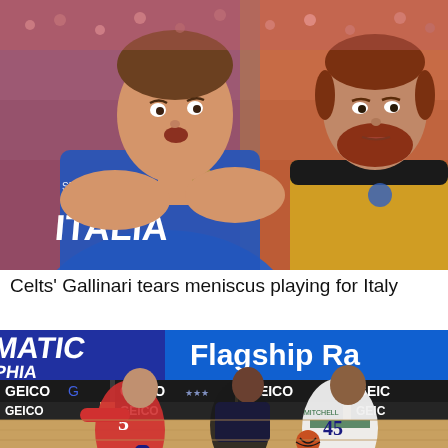[Figure (photo): Two basketball players in close-up: one wearing a blue Italy national team jersey with SPALDING and ITALIA text, another wearing a yellow jersey. Both looking intensely forward.]
Celts' Gallinari tears meniscus playing for Italy
[Figure (photo): Basketball game action shot showing players from Philadelphia 76ers (red uniforms) and Utah Jazz (white/green uniforms) with GEICO and MATIC/PHIA arena advertisements visible in the background.]